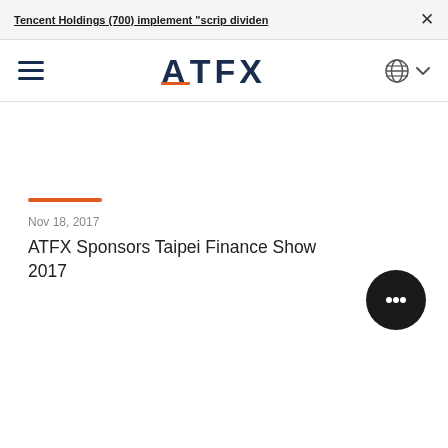Tencent Holdings (700) implement "scrip dividen
[Figure (logo): ATFX logo with hamburger menu icon on the left and globe/language selector on the right]
Nov 18, 2017
ATFX Sponsors Taipei Finance Show 2017